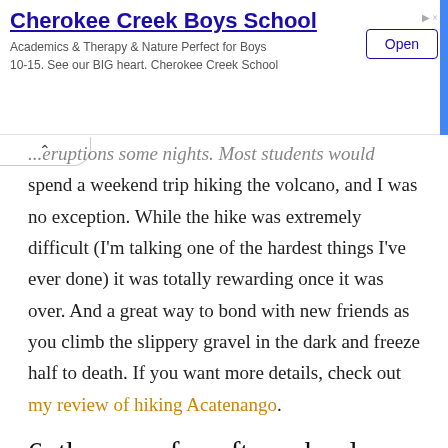[Figure (other): Cherokee Creek Boys School advertisement banner with title, tagline, and Open button]
...eruptions some nights. Most students would spend a weekend trip hiking the volcano, and I was no exception. While the hike was extremely difficult (I'm talking one of the hardest things I've ever done) it was totally rewarding once it was over. And a great way to bond with new friends as you climb the slippery gravel in the dark and freeze half to death. If you want more details, check out my review of hiking Acatenango.
6. there are fun after school ACTIVITIES
Antiguena offers after school activities every day. From cooking classes, to walking tours, to visiting the